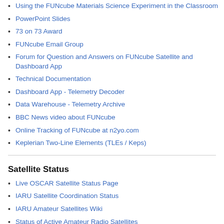Using the FUNcube Materials Science Experiment in the Classroom
PowerPoint Slides
73 on 73 Award
FUNcube Email Group
Forum for Question and Answers on FUNcube Satellite and Dashboard App
Technical Documentation
Dashboard App - Telemetry Decoder
Data Warehouse - Telemetry Archive
BBC News video about FUNcube
Online Tracking of FUNcube at n2yo.com
Keplerian Two-Line Elements (TLEs / Keps)
Satellite Status
Live OSCAR Satellite Status Page
IARU Satellite Coordination Status
IARU Amateur Satellites Wiki
Status of Active Amateur Radio Satellites